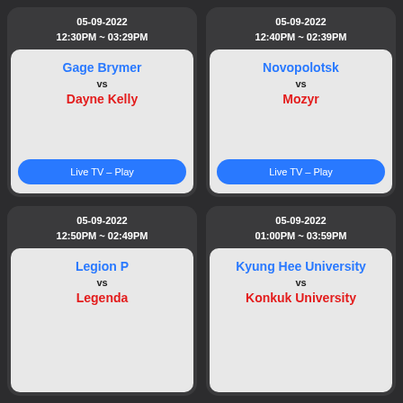05-09-2022
12:30PM ~ 03:29PM
Gage Brymer vs Dayne Kelly
Live TV – Play
05-09-2022
12:40PM ~ 02:39PM
Novopolotsk vs Mozyr
Live TV – Play
05-09-2022
12:50PM ~ 02:49PM
Legion P vs Legenda
05-09-2022
01:00PM ~ 03:59PM
Kyung Hee University vs Konkuk University